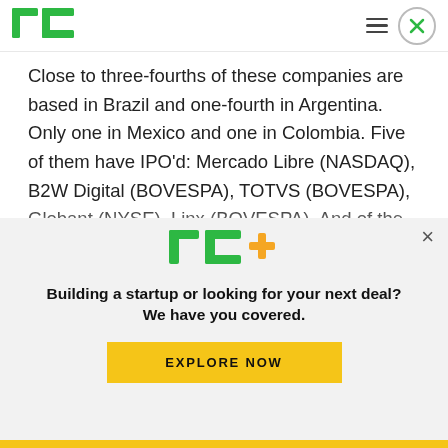TechCrunch logo and navigation
Close to three-fourths of these companies are based in Brazil and one-fourth in Argentina. Only one in Mexico and one in Colombia. Five of them have IPO'd: Mercado Libre (NASDAQ), B2W Digital (BOVESPA), TOTVS (BOVESPA), Globant (NYSE), Linx (BOVESPA). And of the privately held companies except for UOL, 100 percent of them
[Figure (logo): TechCrunch TC+ logo in green with orange plus sign]
Building a startup or looking for your next deal? We have you covered.
EXPLORE NOW